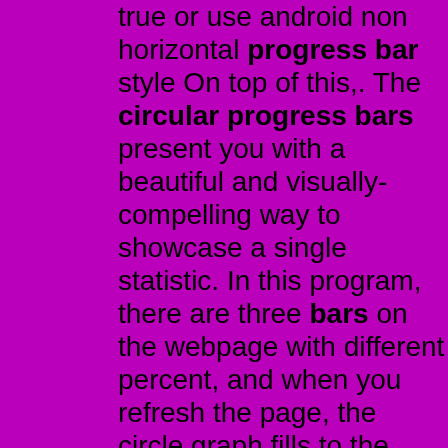true or use android non horizontal progress bar style On top of this,. The circular progress bars present you with a beautiful and visually-compelling way to showcase a single statistic. In this program, there are three bars on the webpage with different percent, and when you refresh the page, the circle graph fills to the percentage-based location. Circular Progress Bar with Percent [Source Codes] To create this program (Circular Progress Bar). First, you need to create two Files one HTML File and another one is CSS File. After creating these files just paste the following codes in your file. First, create an HTML file with the name of index.html and paste the given codes in your HTML. Home / Front-end Designs / Progress Bars / Circular Progress Bar with Animation | HTML, CSS, and JavaScript June 26, 2022 April 28, 2022 by Kumar This is a CSS circular progress bar with animation. A circular progress bar is used to pass on information to the user about some ongoing operation. Just like horizontal progress bars, they visually signify how far the operation has advanced. Read on to learn about the Vuetify. By webcodeflow. Make a pure Css circular progress bar using only CSS and html. No javascript is executed on the device and no images are loaded. This makes the approach very fast to load and render. I didn't invent the technique but the post goes a long way to explaining how this can be done with just css. Step 1: